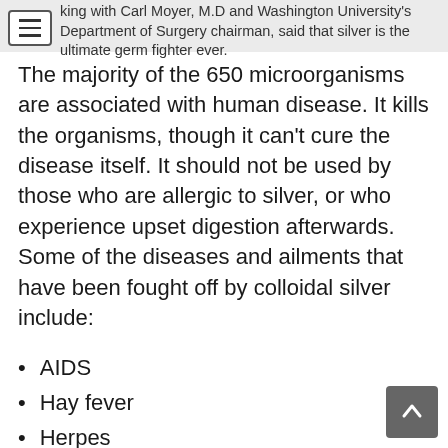king with Carl Moyer, M.D and Washington University's Department of Surgery chairman, said that silver is the ultimate germ fighter ever.
The majority of the 650 microorganisms are associated with human disease. It kills the organisms, though it can't cure the disease itself. It should not be used by those who are allergic to silver, or who experience upset digestion afterwards. Some of the diseases and ailments that have been fought off by colloidal silver include:
AIDS
Hay fever
Herpes
Keratitis